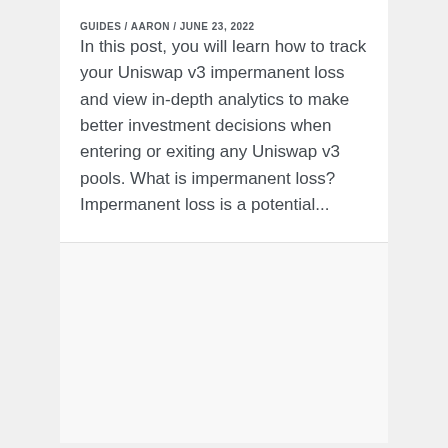GUIDES / AARON / JUNE 23, 2022
In this post, you will learn how to track your Uniswap v3 impermanent loss and view in-depth analytics to make better investment decisions when entering or exiting any Uniswap v3 pools. What is impermanent loss? Impermanent loss is a potential...